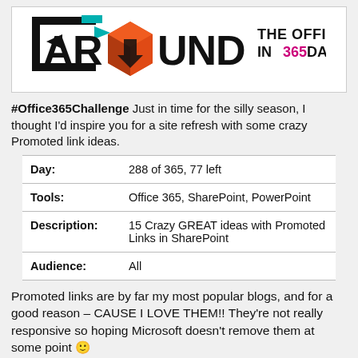[Figure (logo): Around The Office In 365 Days logo — bold black bracketed text 'AROUND' with teal and black arrows, an orange Microsoft Office diamond/cube shape replacing the 'O', and black downward arrow; text 'THE OFFICE IN 365 DAYS' to the right with '365' in magenta/pink]
#Office365Challenge Just in time for the silly season, I thought I'd inspire you for a site refresh with some crazy Promoted link ideas.
| Day: | 288 of 365, 77 left |
| Tools: | Office 365, SharePoint, PowerPoint |
| Description: | 15 Crazy GREAT ideas with Promoted Links in SharePoint |
| Audience: | All |
Promoted links are by far my most popular blogs, and for a good reason – CAUSE I LOVE THEM!! They're not really responsive so hoping Microsoft doesn't remove them at some point 🙂